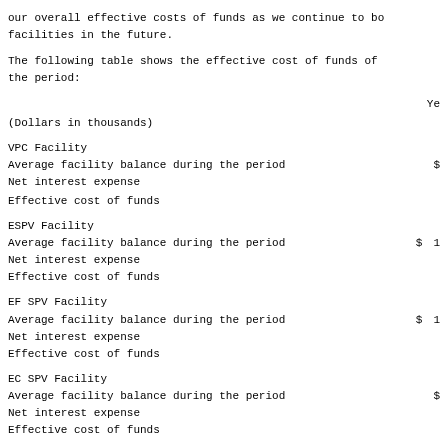our overall effective costs of funds as we continue to bo
facilities in the future.
The following table shows the effective cost of funds of
the period:
(Dollars in thousands)
|  | Ye |
| --- | --- |
| VPC Facility |  |
| Average facility balance during the period | $ |
| Net interest expense |  |
| Effective cost of funds |  |
| ESPV Facility |  |
| Average facility balance during the period | $ 1 |
| Net interest expense |  |
| Effective cost of funds |  |
| EF SPV Facility |  |
| Average facility balance during the period | $ 1 |
| Net interest expense |  |
| Effective cost of funds |  |
| EC SPV Facility |  |
| Average facility balance during the period | $ |
| Net interest expense |  |
| Effective cost of funds |  |